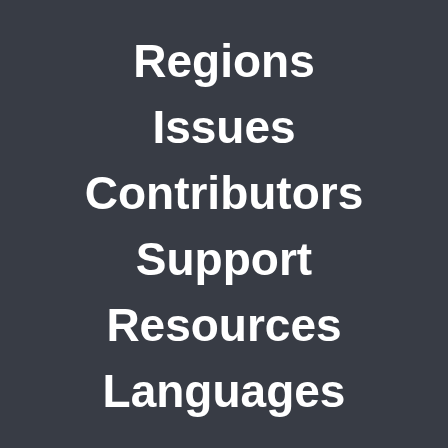Regions
Issues
Contributors
Support
Resources
Languages